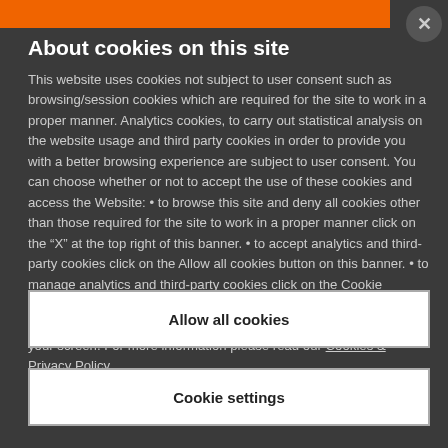About cookies on this site
This website uses cookies not subject to user consent such as browsing/session cookies which are required for the site to work in a proper manner. Analytics cookies, to carry out statistical analysis on the website usage and third party cookies in order to provide you with a better browsing experience are subject to user consent. You can choose whether or not to accept the use of these cookies and access the Website: • to browse this site and deny all cookies other than those required for the site to work in a proper manner click on the “X” at the top right of this banner. • to accept analytics and third-party cookies click on the Allow all cookies button on this banner. • to manage analytics and third-party cookies click on the Cookie settings button on this banner. After the first access, you can always manage your choices by clicking on the icon on the bottom left of your screen. For more information please read our Cookies & Privacy Policy
Allow all cookies
Cookie settings